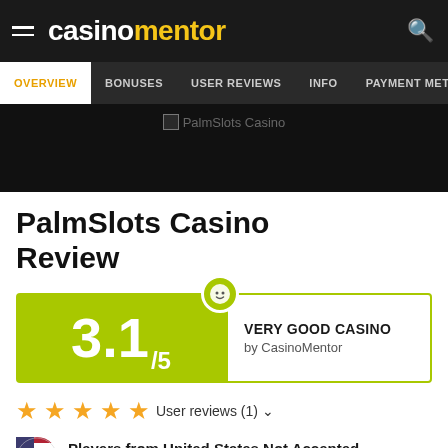casinomentor
OVERVIEW | BONUSES | USER REVIEWS | INFO | PAYMENT METHODS
[Figure (screenshot): PalmSlots Casino banner image placeholder on dark background]
PalmSlots Casino Review
[Figure (infographic): Rating box showing 3.1/5 score with green background, mascot icon, and VERY GOOD CASINO by CasinoMentor label]
★★★★★ User reviews (1)
Players from United States Not Accepted